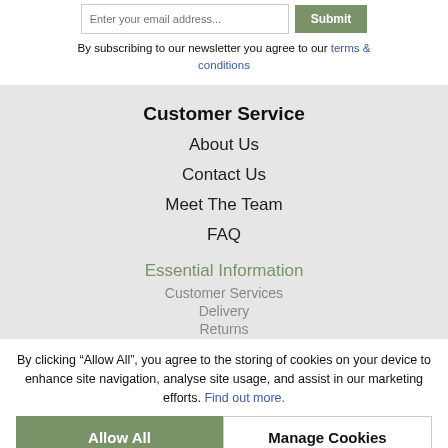[Figure (screenshot): Email input field with placeholder 'Enter your email address...' and a green Submit button]
By subscribing to our newsletter you agree to our terms & conditions
Customer Service
About Us
Contact Us
Meet The Team
FAQ
Essential Information
Customer Services
Delivery
Returns
By clicking “Allow All”, you agree to the storing of cookies on your device to enhance site navigation, analyse site usage, and assist in our marketing efforts. Find out more.